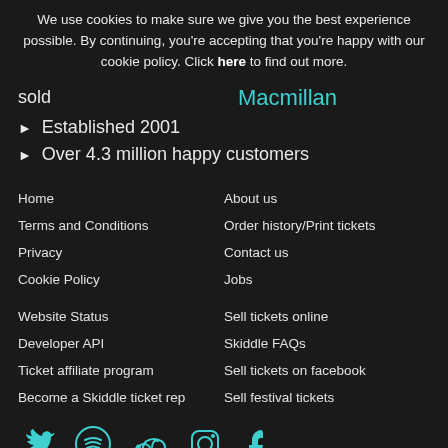We use cookies to make sure we give you the best experience possible. By continuing, you're accepting that you're happy with our cookie policy. Click here to find out more.
sold    Macmillan
Established 2001
Over 4.3 million happy customers
Home
About us
Terms and Conditions
Order history/Print tickets
Privacy
Contact us
Cookie Policy
Jobs
Website Status
Sell tickets online
Developer API
Skiddle FAQs
Ticket affiliate program
Sell tickets on facebook
Become a Skiddle ticket rep
Sell festival tickets
[Figure (illustration): Social media icons: Twitter bird, Spotify, SoundCloud, Instagram, Facebook]